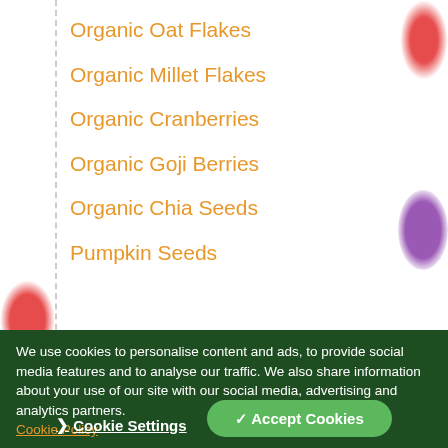Organic Oat Flakes
Organic Millet Flakes
Organic Cranberries
Organic Goji Berries
Organic Chia Seeds
Pumpkin Seeds
We use cookies to personalise content and ads, to provide social media features and to analyse our traffic. We also share information about your use of our site with our social media, advertising and analytics partners. Cookie Policy
Cookie Settings
✓ Accept Cookies